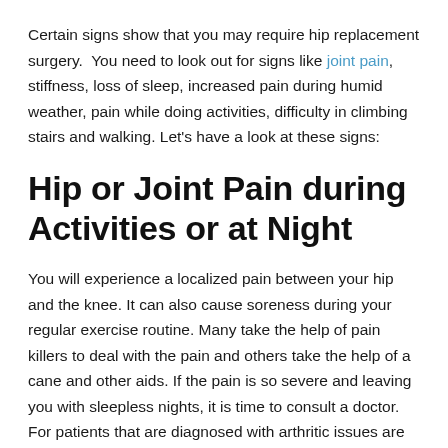Certain signs show that you may require hip replacement surgery.  You need to look out for signs like joint pain, stiffness, loss of sleep, increased pain during humid weather, pain while doing activities, difficulty in climbing stairs and walking. Let's have a look at these signs:
Hip or Joint Pain during Activities or at Night
You will experience a localized pain between your hip and the knee. It can also cause soreness during your regular exercise routine. Many take the help of pain killers to deal with the pain and others take the help of a cane and other aids. If the pain is so severe and leaving you with sleepless nights, it is time to consult a doctor.  For patients that are diagnosed with arthritic issues are usually referred for surgeries. For